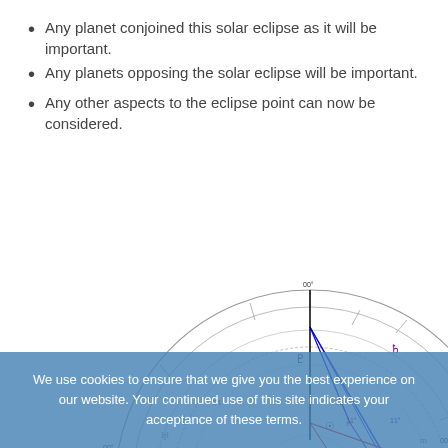Any planet conjoined this solar eclipse as it will be important.
Any planets opposing the solar eclipse will be important.
Any other aspects to the eclipse point can now be considered.
[Figure (other): Partial astrology natal chart for Solar Total Eclipse (NM), 21 Aug 2017, Mon, 11:30:00 am PDT 7:00, Vancouver, Canada, 49N16 123W07, Geocentric, Tropical, 0 Aries, True Node. Shows circular zodiac wheel with planetary positions, aspect lines in red and blue.]
We use cookies to ensure that we give you the best experience on our website. Your continued use of this site indicates your acceptance of these terms.